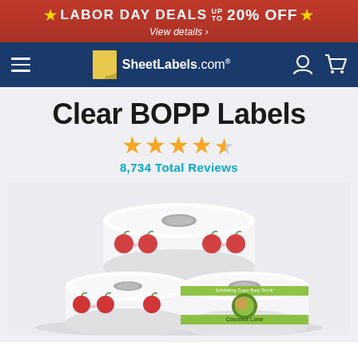★ LABOR DAY DEALS UP TO 20% OFF ★ View details ›
[Figure (screenshot): SheetLabels.com navigation bar with hamburger menu, logo, user icon and cart icon on dark blue background]
Clear BOPP Labels
★★★★½ 8,734 Total Reviews
[Figure (photo): Three rolls of clear BOPP labels showing apple-themed and coconut lime label designs on a light background]